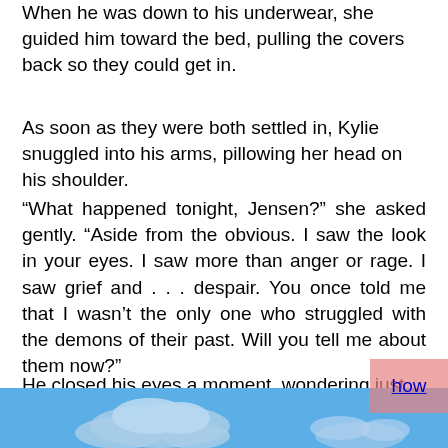When he was down to his underwear, she guided him toward the bed, pulling the covers back so they could get in.
As soon as they were both settled in, Kylie snuggled into his arms, pillowing her head on his shoulder.
“What happened tonight, Jensen?” she asked gently. “Aside from the obvious. I saw the look in your eyes. I saw more than anger or rage. I saw grief and . . . despair. You once told me that I wasn’t the only one who struggled with the demons of their past. Will you tell me about them now?”
He closed his eyes a moment, wondering just how much he should tell her. It wasn’t that he didn’t want to tell [obscured] re. He